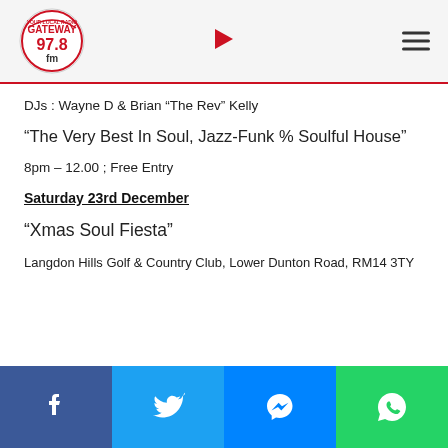[Figure (logo): Gateway 97.8 FM radio station circular logo with red and white design]
DJs : Wayne D & Brian “The Rev” Kelly
“The Very Best In Soul, Jazz-Funk % Soulful House”
8pm – 12.00 ; Free Entry
Saturday 23rd December
“Xmas Soul Fiesta”
Langdon Hills Golf & Country Club, Lower Dunton Road, RM14 3TY
[Figure (infographic): Social media share bar with Facebook, Twitter, Messenger, and WhatsApp buttons]